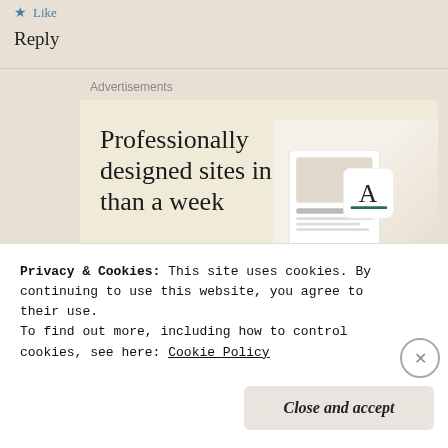Like
Reply
Advertisements
[Figure (screenshot): Advertisement for Squarespace or similar website builder. Large serif text reads 'Professionally designed sites in less than a week' with a green 'Explore options' button. Right side shows mockup screenshots of website designs.]
Privacy & Cookies: This site uses cookies. By continuing to use this website, you agree to their use.
To find out more, including how to control cookies, see here: Cookie Policy
Close and accept